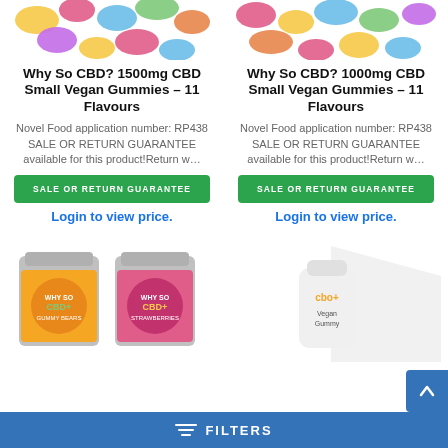[Figure (photo): Top portion of colorful CBD gummy product image, left column]
[Figure (photo): Top portion of colorful CBD gummy product image, right column]
Why So CBD? 1500mg CBD Small Vegan Gummies – 11 Flavours
Why So CBD? 1000mg CBD Small Vegan Gummies – 11 Flavours
Novel Food application number: RP438 SALE OR RETURN GUARANTEE available for this product!Return w…
Novel Food application number: RP438 SALE OR RETURN GUARANTEE available for this product!Return w…
SALE OR RETURN GUARANTEE
SALE OR RETURN GUARANTEE
Login to view price.
Login to view price.
[Figure (photo): Why So CBD gummy product jars with colorful labels]
[Figure (photo): cbo+ Vegan Gummy supplement bottle in white]
FILTERS